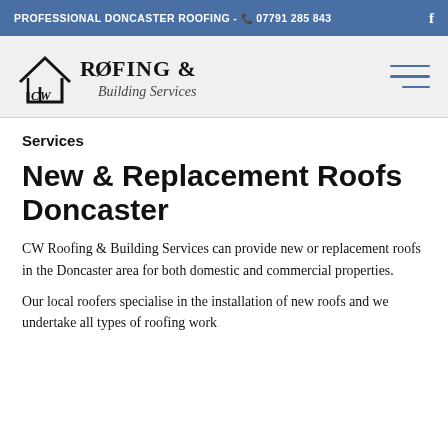PROFESSIONAL DONCASTER ROOFING - 07791 285 843
[Figure (logo): CW Roofing & Building Services logo with house/roof icon and stylized text]
Services
New & Replacement Roofs Doncaster
CW Roofing & Building Services can provide new or replacement roofs in the Doncaster area for both domestic and commercial properties.
Our local roofers specialise in the installation of new roofs and we undertake all types of roofing work